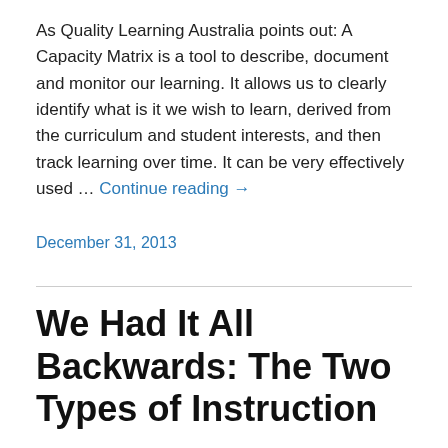As Quality Learning Australia points out: A Capacity Matrix is a tool to describe, document and monitor our learning. It allows us to clearly identify what is it we wish to learn, derived from the curriculum and student interests, and then track learning over time. It can be very effectively used … Continue reading →
December 31, 2013
We Had It All Backwards: The Two Types of Instruction
When I told my Curriculum Director, Shelly, about my thinking about there being two types of instruction (Instruction for Lower Level Thinking and Instruction for Higher Order Thinking), she seemed to think the idea